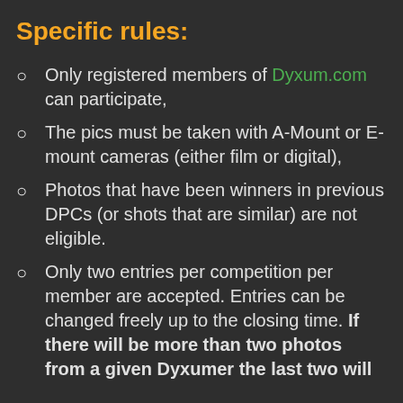Specific rules:
Only registered members of Dyxum.com can participate,
The pics must be taken with A-Mount or E-mount cameras (either film or digital),
Photos that have been winners in previous DPCs (or shots that are similar) are not eligible.
Only two entries per competition per member are accepted. Entries can be changed freely up to the closing time. If there will be more than two photos from a given Dyxumer the last two will